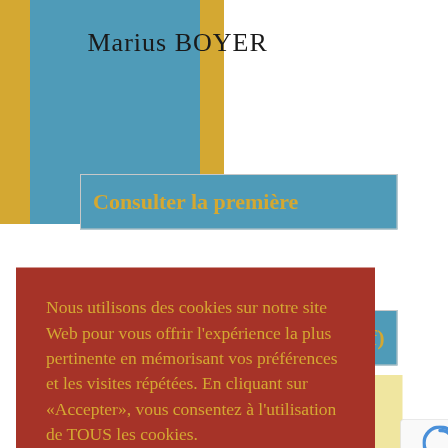Marius BOYER
Consulter la première
Nous utilisons des cookies sur notre site Web pour vous offrir l'expérience la plus pertinente en mémorisant vos préférences et les visites répétées. En cliquant sur «Accepter», vous consentez à l'utilisation de TOUS les cookies.
Paramètres des cookies
ACCEPTER
REJETER
pdf)
0
Privacy · Terms